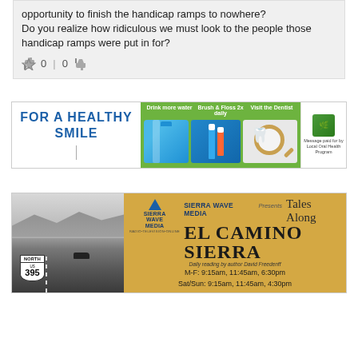opportunity to finish the handicap ramps to nowhere? Do you realize how ridiculous we must look to the people those handicap ramps were put in for?
0 | 0
[Figure (infographic): FOR A HEALTHY SMILE banner ad with tips: Drink more water, Brush & Floss 2x daily, Visit the Dentist]
[Figure (infographic): Sierra Wave Media presents Tales Along El Camino Sierra ad with US 395 road sign and show times]